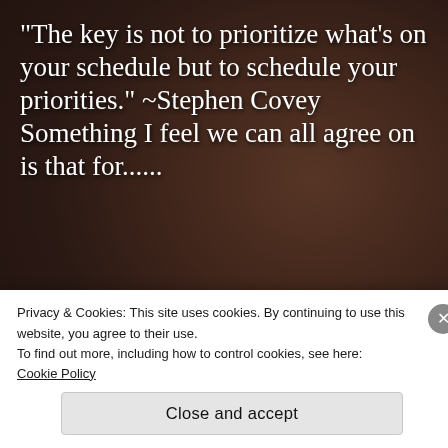[Figure (photo): Dark moody background photo of a person (woman with blonde hair in red clothing), heavily darkened with overlay, serving as background for the quote text and read more button.]
“The key is not to prioritize what’s on your schedule but to schedule your priorities.” ~Stephen Covey Something I feel we can all agree on is that for......
READ MORE →
Privacy & Cookies: This site uses cookies. By continuing to use this website, you agree to their use.
To find out more, including how to control cookies, see here:
Cookie Policy
Close and accept